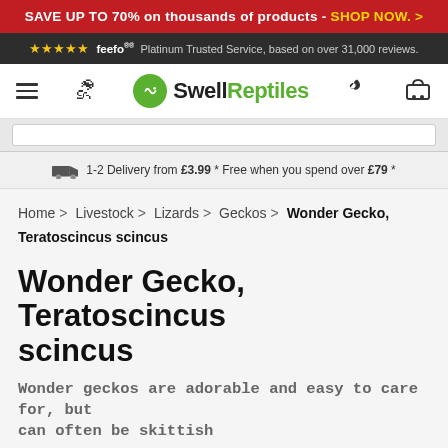SAVE UP TO 70% on thousands of products - SHOP NOW. >
★★★★★ feefo Platinum Trusted Service, based on over 31,000 reviews.
Swell Reptiles — navigation bar with menu, account, phone, basket icons
1-2 Delivery from £3.99 * Free when you spend over £79 *
Home > Livestock > Lizards > Geckos > Wonder Gecko, Teratoscincus scincus
Wonder Gecko, Teratoscincus scincus
Wonder geckos are adorable and easy to care for, but can often be skittish
Write a review